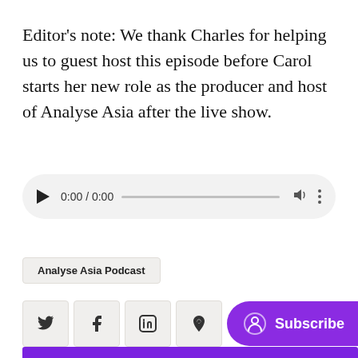Editor's note: We thank Charles for helping us to guest host this episode before Carol starts her new role as the producer and host of Analyse Asia after the live show.
[Figure (other): Audio player widget with play button, time display 0:00 / 0:00, progress bar, volume icon, and more options icon on a light grey rounded rectangle background]
Analyse Asia Podcast
[Figure (other): Social sharing buttons: Twitter (bird icon), Facebook (f icon), LinkedIn (in icon), Pinterest (P icon), and a purple Subscribe button with user icon]